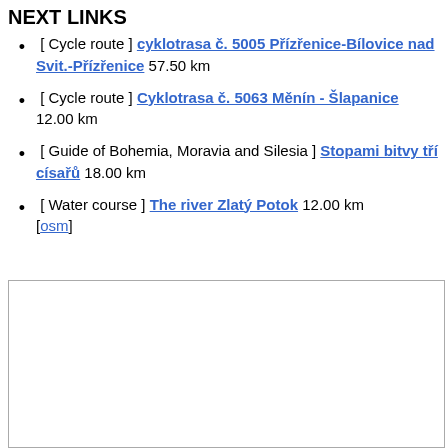NEXT LINKS
[ Cycle route ] cyklotrasa č. 5005 Přízřenice-Bílovice nad Svit.-Přízřenice 57.50 km
[ Cycle route ] Cyklotrasa č. 5063 Měnín - Šlapanice 12.00 km
[ Guide of Bohemia, Moravia and Silesia ] Stopami bitvy tří císařů 18.00 km
[ Water course ] The river Zlatý Potok 12.00 km [osm]
[Figure (map): Empty map area with border]